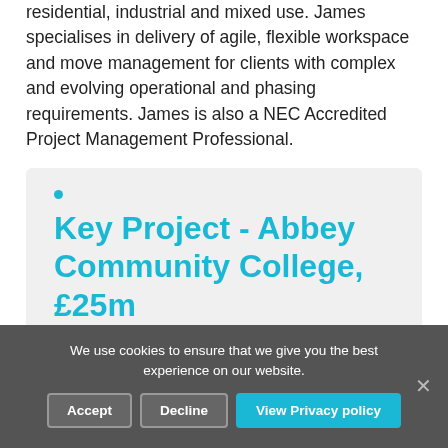residential, industrial and mixed use. James specialises in delivery of agile, flexible workspace and move management for clients with complex and evolving operational and phasing requirements. James is also a NEC Accredited Project Management Professional.
Key Project - Abbey Community College, £25m
James' appointment coincided with the new state of the art Abbey Community College development, acting as the NEC...
We use cookies to ensure that we give you the best experience on our website.